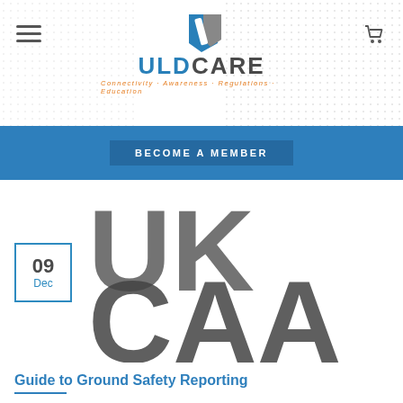[Figure (logo): ULDCare logo with blue and grey chevron icon, text ULDCARE below, tagline: Connectivity Awareness Regulations Education]
[Figure (screenshot): Navigation bar with hamburger menu on left and shopping cart icon on right]
BECOME A MEMBER
[Figure (photo): Large grey letters spelling UK CAA on white background, partially cropped]
09
Dec
Guide to Ground Safety Reporting